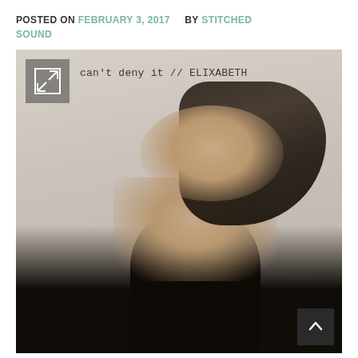POSTED ON FEBRUARY 3, 2017   BY STITCHED SOUND
[Figure (photo): Album artwork / promotional photo for 'can't deny it // ELIXABETH'. A young woman with dark hair in a high ponytail looks over her shoulder at the camera. She is wearing a black off-shoulder top. The image has a light grey/beige background with the text 'can't deny it // ELIXABETH' in monospace font near the top. An expand icon appears in the top-left corner and a scroll-up button in the bottom-right corner.]